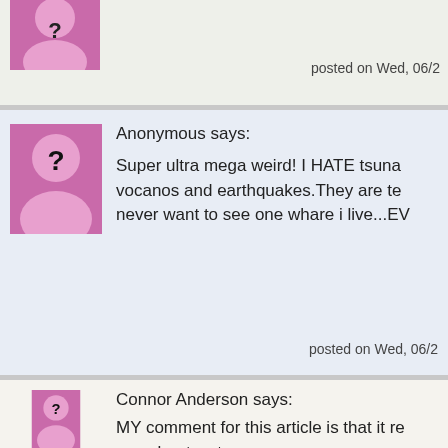[Figure (illustration): Anonymous user avatar - pink silhouette with question mark (partially visible at top)]
posted on Wed, 06/2
[Figure (illustration): Anonymous user avatar - pink silhouette with question mark]
Anonymous says:
Super ultra mega weird! I HATE tsuna vocanos and earthquakes.They are te never want to see one whare i live...EV
posted on Wed, 06/2
[Figure (illustration): Anonymous user avatar - pink silhouette with question mark]
Connor Anderson says:
MY comment for this article is that it re ypu about water